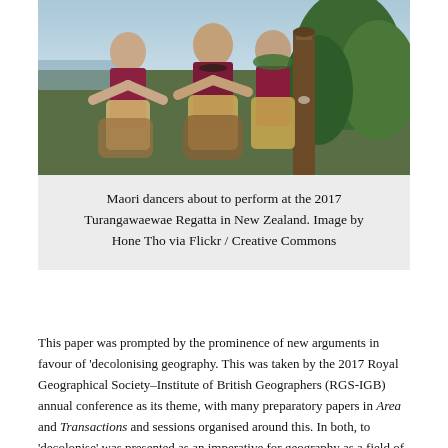[Figure (photo): Maori dancers in traditional costumes standing outdoors, with a wooden post and green foliage visible in the background, about to perform at the 2017 Turangawaewae Regatta in New Zealand.]
Maori dancers about to perform at the 2017 Turangawaewae Regatta in New Zealand. Image by Hone Tho via Flickr / Creative Commons
This paper was prompted by the prominence of new arguments in favour of 'decolonising geography. This was taken by the 2017 Royal Geographical Society–Institute of British Geographers (RGS-IGB) annual conference as its theme, with many preparatory papers in Area and Transactions and sessions organised around this. In both, to 'decolonise' was presented as an imperative for geography as a field of study, and for all geographers within it, to address urgently (Daigle and Sundberg, 2017;